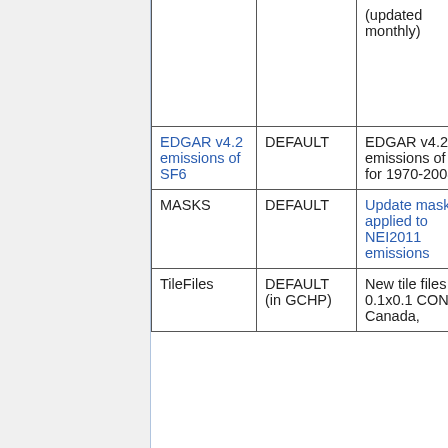|  |  | (updated monthly) |  |
| --- | --- | --- | --- |
| EDGAR v4.2 emissions of SF6 | DEFAULT | EDGAR v4.2 emissions of SF6 for 1970-2008 | HEMC 01/… |
| MASKS | DEFAULT | Update mask file applied to NEI2011 emissions | HEMC 09/… |
| TileFiles | DEFAULT (in GCHP) | New tile files for 0.1x0.1 CONUS, Canada, | GCHP… |